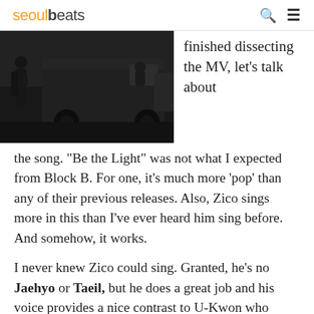seoulbeats
[Figure (photo): Dark moody image of a person standing next to a large dark van/vehicle, shot in black and white or very desaturated tones.]
finished dissecting the MV, let’s talk about the song. “Be the Light” was not what I expected from Block B. For one, it’s much more ‘pop’ than any of their previous releases. Also, Zico sings more in this than I’ve ever heard him sing before. And somehow, it works.
I never knew Zico could sing. Granted, he’s no Jaehyo or Taeil, but he does a great job and his voice provides a nice contrast to U-Kwon who takes over